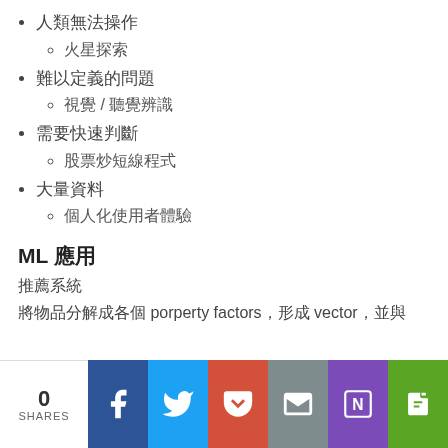人類無法操作
火星探索
難以定義的問題
視覺 / 聽覺辨識
需要快速判斷
股票炒短線程式
大量資料
個人化使用者體驗
ML 應用
推薦系統
將物品分解成各個 porperty factors，形成 vector，並與
0 SHARES | Facebook | Twitter | Pocket | Mail | OneNote | Evernote